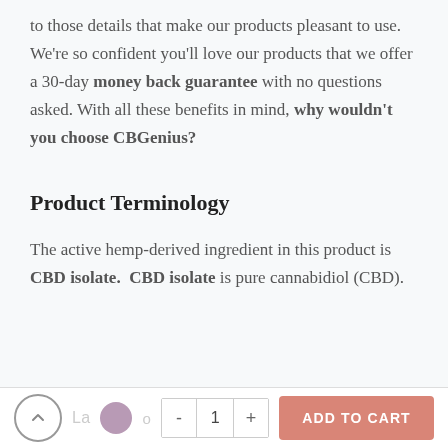to those details that make our products pleasant to use.  We're so confident you'll love our products that we offer a 30-day money back guarantee with no questions asked. With all these benefits in mind, why wouldn't you choose CBGenius?
Product Terminology
The active hemp-derived ingredient in this product is CBD isolate.  CBD isolate is pure cannabidiol (CBD).